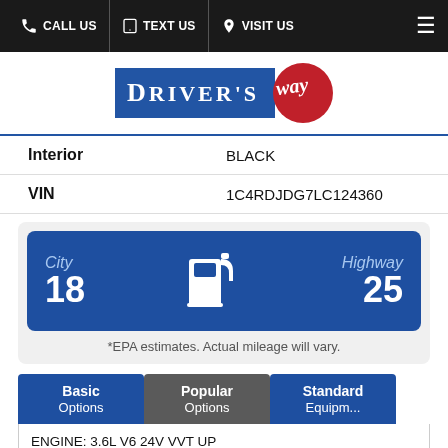CALL US | TEXT US | VISIT US
[Figure (logo): Driver's Way logo with blue rectangle containing 'DRIVER'S' and red circle containing cursive 'Way']
| Interior | BLACK |
| VIN | 1C4RDJDG7LC124360 |
[Figure (infographic): MPG fuel economy card: City 18, Highway 25, with fuel pump icon. Note: *EPA estimates. Actual mileage will vary.]
Basic Options | Popular Options | Standard Equipment
ENGINE: 3.6L V6 24V VVT UPG I W/ESS